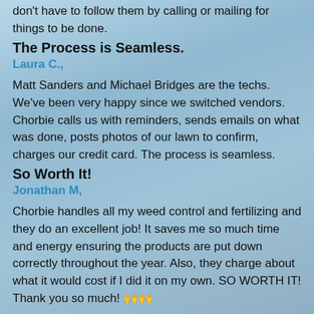don't have to follow them by calling or mailing for things to be done.
The Process is Seamless.
Laura C.,
Matt Sanders and Michael Bridges are the techs. We've been very happy since we switched vendors. Chorbie calls us with reminders, sends emails on what was done, posts photos of our lawn to confirm, charges our credit card. The process is seamless.
So Worth It!
Jonathan M,
Chorbie handles all my weed control and fertilizing and they do an excellent job! It saves me so much time and energy ensuring the products are put down correctly throughout the year. Also, they charge about what it would cost if I did it on my own. SO WORTH IT! Thank you so much! 🙌🙌